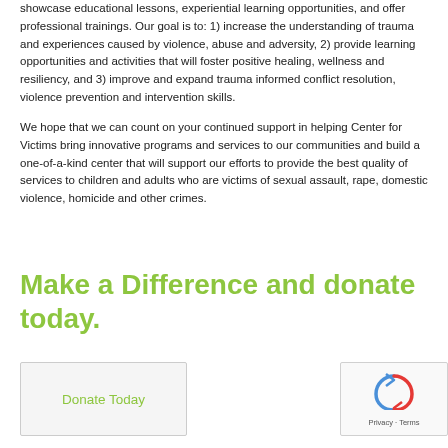showcase educational lessons, experiential learning opportunities, and offer professional trainings. Our goal is to: 1) increase the understanding of trauma and experiences caused by violence, abuse and adversity, 2) provide learning opportunities and activities that will foster positive healing, wellness and resiliency, and 3) improve and expand trauma informed conflict resolution, violence prevention and intervention skills.
We hope that we can count on your continued support in helping Center for Victims bring innovative programs and services to our communities and build a one-of-a-kind center that will support our efforts to provide the best quality of services to children and adults who are victims of sexual assault, rape, domestic violence, homicide and other crimes.
Make a Difference and donate today.
Donate Today